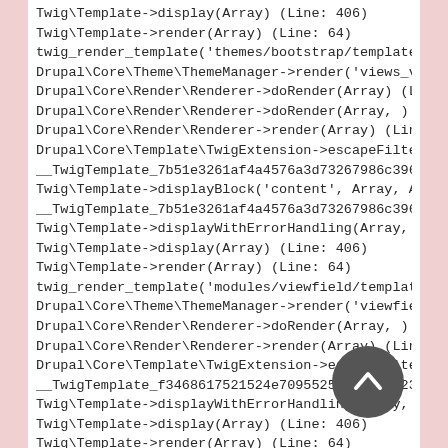Twig\Template->display(Array) (Line: 406)
Twig\Template->render(Array) (Line: 64)
twig_render_template('themes/bootstrap/template
Drupal\Core\Theme\ThemeManager->render('views_v
Drupal\Core\Render\Renderer->doRender(Array) (L
Drupal\Core\Render\Renderer->doRender(Array, )
Drupal\Core\Render\Renderer->render(Array) (Lin
Drupal\Core\Template\TwigExtension->escapeFilte
__TwigTemplate_7b51e3261af4a4576a3d73267986c396
Twig\Template->displayBlock('content', Array, A
__TwigTemplate_7b51e3261af4a4576a3d73267986c396
Twig\Template->displayWithErrorHandling(Array,
Twig\Template->display(Array) (Line: 406)
Twig\Template->render(Array) (Line: 64)
twig_render_template('modules/viewfield/templat
Drupal\Core\Theme\ThemeManager->render('viewfie
Drupal\Core\Render\Renderer->doRender(Array, )
Drupal\Core\Render\Renderer->render(Array) (Lin
Drupal\Core\Template\TwigExtension->escapeFilte
__TwigTemplate_f3468617521524e7095525090f1bd523
Twig\Template->displayWithErrorHandling(Array,
Twig\Template->display(Array) (Line: 406)
Twig\Template->render(Array) (Line: 64)
twig_render_template('modules/viewfield/templat
Drupal\Core\Theme\ThemeManager->render('viewfie